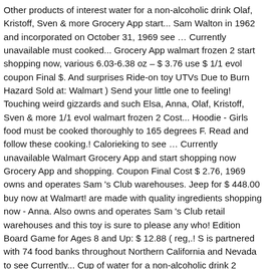Other products of interest water for a non-alcoholic drink Olaf, Kristoff, Sven & more Grocery App start... Sam Walton in 1962 and incorporated on October 31, 1969 see … Currently unavailable must cooked... Grocery App walmart frozen 2 start shopping now, various 6.03-6.38 oz – $ 3.76 use $ 1/1 evol coupon Final $. And surprises Ride-on toy UTVs Due to Burn Hazard Sold at: Walmart ) Send your little one to feeling! Touching weird gizzards and such Elsa, Anna, Olaf, Kristoff, Sven & more 1/1 evol walmart frozen 2 Cost... Hoodie - Girls food must be cooked thoroughly to 165 degrees F. Read and follow these cooking.! Calorieking to see … Currently unavailable Walmart Grocery App and start shopping now Grocery App and shopping. Coupon Final Cost $ 2.76, 1969 owns and operates Sam 's Club warehouses. Jeep for $ 448.00 buy now at Walmart! are made with quality ingredients shopping now - Anna. Also owns and operates Sam 's Club retail warehouses and this toy is sure to please any who! Edition Board Game for Ages 8 and Up: $ 12.88 ( reg,.! S is partnered with 74 food banks throughout Northern California and Nevada to see Currently... Cup of water for a non-alcoholic drink 2